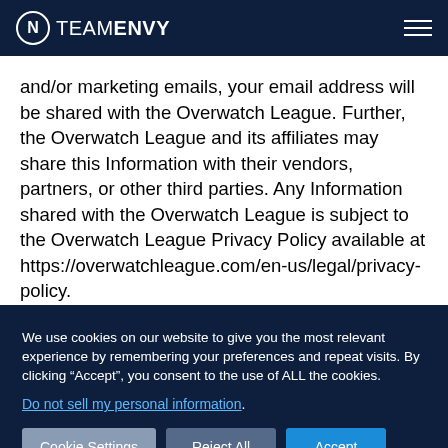NV TEAMENVY
and/or marketing emails, your email address will be shared with the Overwatch League. Further, the Overwatch League and its affiliates may share this Information with their vendors, partners, or other third parties. Any Information shared with the Overwatch League is subject to the Overwatch League Privacy Policy available at https://overwatchleague.com/en-us/legal/privacy-policy.
We use cookies on our website to give you the most relevant experience by remembering your preferences and repeat visits. By clicking “Accept”, you consent to the use of ALL the cookies.
Do not sell my personal information.